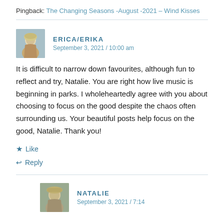Pingback: The Changing Seasons -August -2021 – Wind Kisses
ERICA/ERIKA
September 3, 2021 / 10:00 am
It is difficult to narrow down favourites, although fun to reflect and try, Natalie. You are right how live music is beginning in parks. I wholeheartedly agree with you about choosing to focus on the good despite the chaos often surrounding us. Your beautiful posts help focus on the good, Natalie. Thank you!
Like
Reply
NATALIE
September 3, 2021 / 7:14